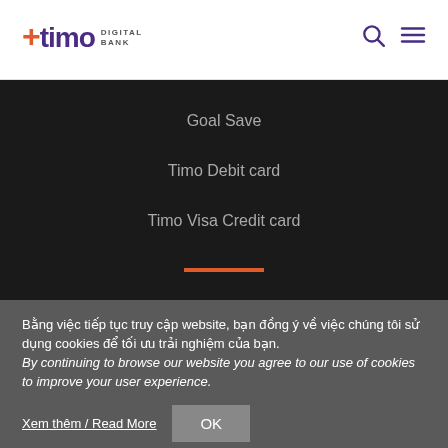[Figure (logo): Timo Digital Bank logo with orange plus sign and purple text]
Goal Save
Timo Debit card
Timo Visa Credit card
Bằng việc tiếp tục truy cập website, bạn đồng ý về việc chúng tôi sử dụng cookies để tối ưu trải nghiệm của bạn. By continuing to browse our website you agree to our use of cookies to improve your user experience.
Xem thêm / Read More
OK